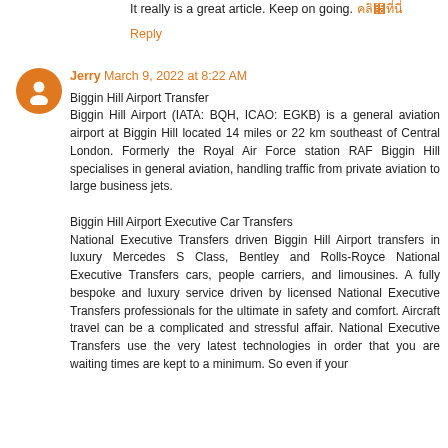It really is a great article. Keep on going. [link text in Thai]
Reply
Jerry  March 9, 2022 at 8:22 AM
Biggin Hill Airport Transfer
Biggin Hill Airport (IATA: BQH, ICAO: EGKB) is a general aviation airport at Biggin Hill located 14 miles or 22 km southeast of Central London. Formerly the Royal Air Force station RAF Biggin Hill specialises in general aviation, handling traffic from private aviation to large business jets.

Biggin Hill Airport Executive Car Transfers
National Executive Transfers driven Biggin Hill Airport transfers in luxury Mercedes S Class, Bentley and Rolls-Royce National Executive Transfers cars, people carriers, and limousines. A fully bespoke and luxury service driven by licensed National Executive Transfers professionals for the ultimate in safety and comfort. Aircraft travel can be a complicated and stressful affair. National Executive Transfers use the very latest technologies in order that you are waiting times are kept to a minimum. So even if your